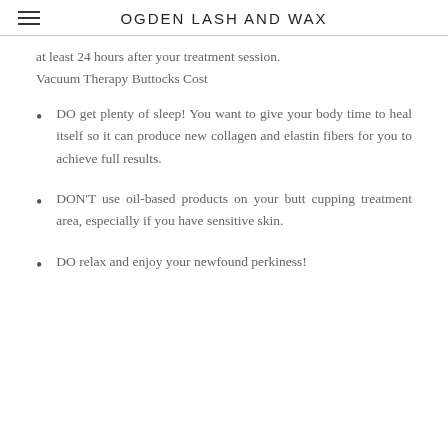OGDEN LASH AND WAX
at least 24 hours after your treatment session. Vacuum Therapy Buttocks Cost
DO get plenty of sleep! You want to give your body time to heal itself so it can produce new collagen and elastin fibers for you to achieve full results.
DON'T use oil-based products on your butt cupping treatment area, especially if you have sensitive skin.
DO relax and enjoy your newfound perkiness!